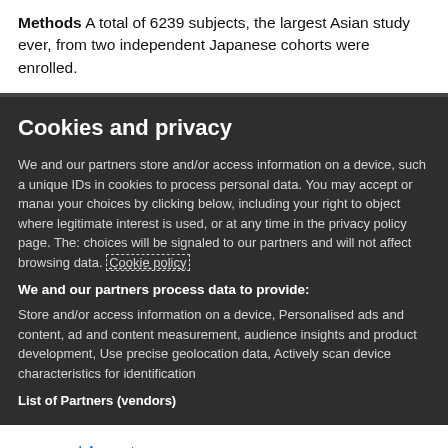Methods A total of 6239 subjects, the largest Asian study ever, from two independent Japanese cohorts were enrolled.
Cookies and privacy
We and our partners store and/or access information on a device, such as unique IDs in cookies to process personal data. You may accept or manage your choices by clicking below, including your right to object where legitimate interest is used, or at any time in the privacy policy page. These choices will be signaled to our partners and will not affect browsing data. Cookie policy
We and our partners process data to provide:
Store and/or access information on a device, Personalised ads and content, ad and content measurement, audience insights and product development, Use precise geolocation data, Actively scan device characteristics for identification
List of Partners (vendors)
I Accept